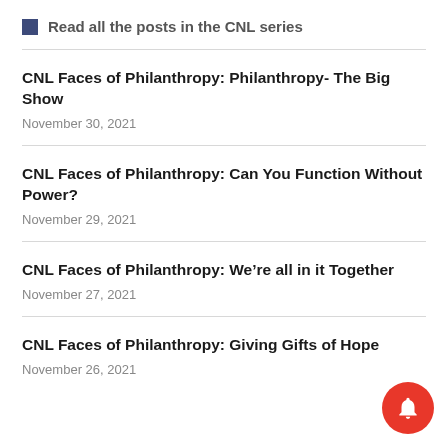Read all the posts in the CNL series
CNL Faces of Philanthropy: Philanthropy- The Big Show
November 30, 2021
CNL Faces of Philanthropy: Can You Function Without Power?
November 29, 2021
CNL Faces of Philanthropy: We’re all in it Together
November 27, 2021
CNL Faces of Philanthropy: Giving Gifts of Hope
November 26, 2021